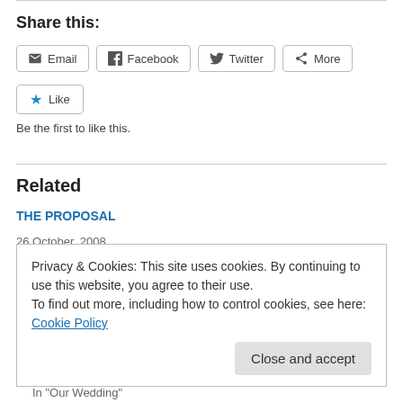Share this:
Email  Facebook  Twitter  More (share buttons)
★ Like
Be the first to like this.
Related
THE PROPOSAL
26 October, 2008
In "Proposal"
Privacy & Cookies: This site uses cookies. By continuing to use this website, you agree to their use.
To find out more, including how to control cookies, see here: Cookie Policy
Close and accept
In "Our Wedding"